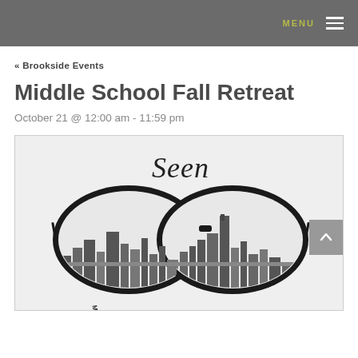MENU
« Brookside Events
Middle School Fall Retreat
October 21 @ 12:00 am - 11:59 pm
[Figure (illustration): Graphic of eyeglasses with a cityscape reflected in the lenses, with cursive text 'Seen' above and 'MIDDLE SCHOOL FALL RETREAT' written in a curved arc below the lenses.]